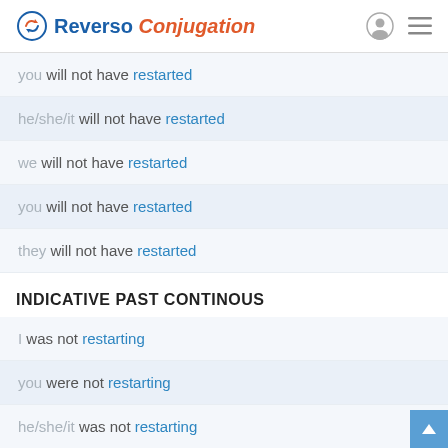Reverso Conjugation
you will not have restarted
he/she/it will not have restarted
we will not have restarted
you will not have restarted
they will not have restarted
INDICATIVE PAST CONTINOUS
I was not restarting
you were not restarting
he/she/it was not restarting